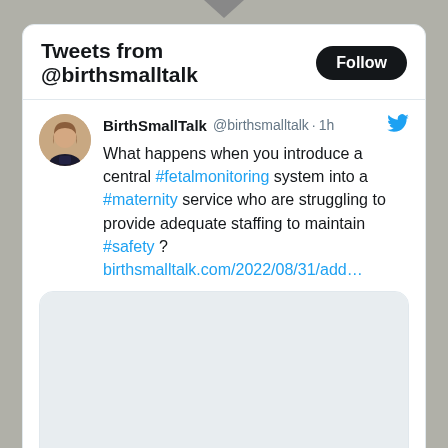Tweets from @birthsmalltalk
BirthSmallTalk @birthsmalltalk · 1h
What happens when you introduce a central #fetalmonitoring system into a #maternity service who are struggling to provide adequate staffing to maintain #safety ? birthsmalltalk.com/2022/08/31/add…
[Figure (screenshot): Preview image card for birthsmalltalk.com article]
birthsmalltalk.com
Add central fetal monitoring and stir: Is this the solution to adequate staffing?